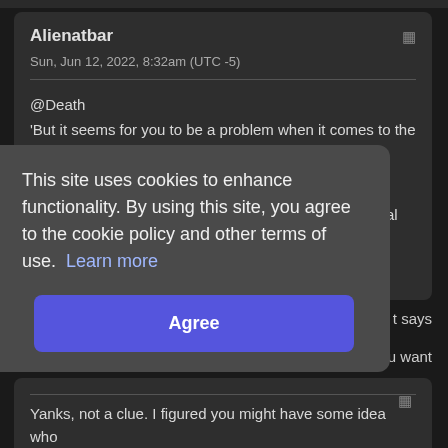Alienatbar
Sun, Jun 12, 2022, 8:32am (UTC -5)
@Death
'But it seems for you to be a problem when it comes to the black female communications officer.'

@Slacker
'We also have to recognize that on nuTrek, it's a central mission to center narratives of Black women.'
t says
u want
This site uses cookies to enhance functionality. By using this site, you agree to the cookie policy and other terms of use.  Learn more
Agree
Yanks, not a clue. I figured you might have some idea who